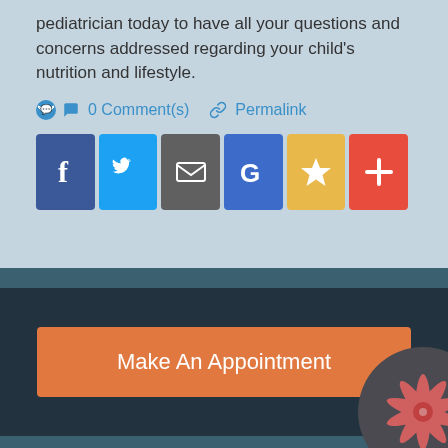pediatrician today to have all your questions and concerns addressed regarding your child's nutrition and lifestyle.
0 Comment(s)   Permalink
[Figure (other): Social sharing buttons: Facebook (blue), Twitter (light blue), Email (gray), Google (blue), Favorites star (yellow), Add/Plus (red-orange)]
[Figure (other): Make An Appointment orange button with starfish decoration on dark navy background]
Quick links